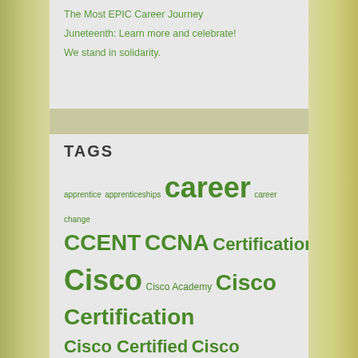The Most EPIC Career Journey
Juneteenth: Learn more and celebrate!
We stand in solidarity.
TAGS
apprentice apprenticeships career career change CCENT CCNA Certifications Cisco Cisco Academy Cisco Certification Cisco Certified Cisco Certified Entry Networking Technician Cisco Certified Network Associate data data analysis Deployment Technician diversity education employment EPIC equity inclusion Information Technology innovation